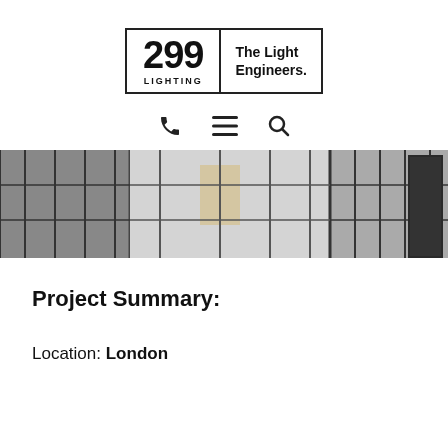[Figure (logo): 299 Lighting logo with 'The Light Engineers.' tagline in a bordered box]
[Figure (other): Navigation bar icons: phone, hamburger menu, search]
[Figure (photo): Wide hero photograph of a modern interior office space with large floor-to-ceiling glass windows and grid frames]
Project Summary:
Location: London